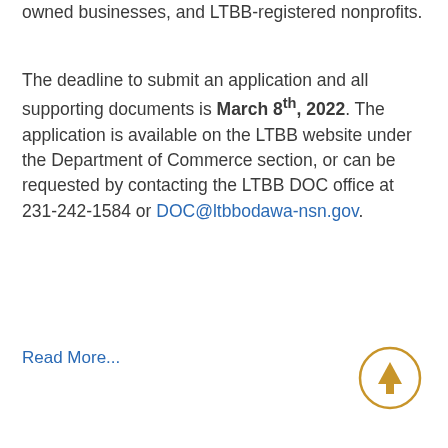owned businesses, and LTBB-registered nonprofits.
The deadline to submit an application and all supporting documents is March 8th, 2022. The application is available on the LTBB website under the Department of Commerce section, or can be requested by contacting the LTBB DOC office at 231-242-1584 or DOC@ltbbodawa-nsn.gov.
Read More...
[Figure (other): Back to top button: a golden circle with an upward-pointing arrow inside]